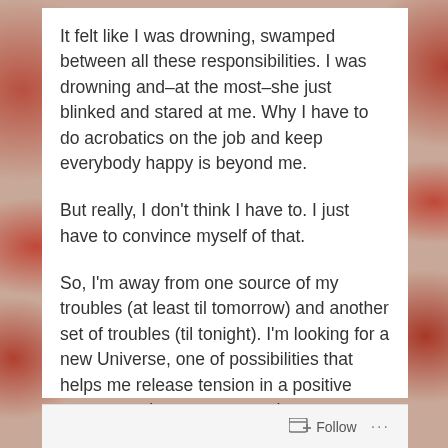It felt like I was drowning, swamped between all these responsibilities. I was drowning and–at the most–she just blinked and stared at me. Why I have to do acrobatics on the job and keep everybody happy is beyond me.
But really, I don't think I have to. I just have to convince myself of that.
So, I'm away from one source of my troubles (at least til tomorrow) and another set of troubles (til tonight). I'm looking for a new Universe, one of possibilities that helps me release tension in a positive way... or at least a constructive one.
A cup of coffee to keep me going (til it's time for tea) and just some time to myself to really, really...
Follow ...